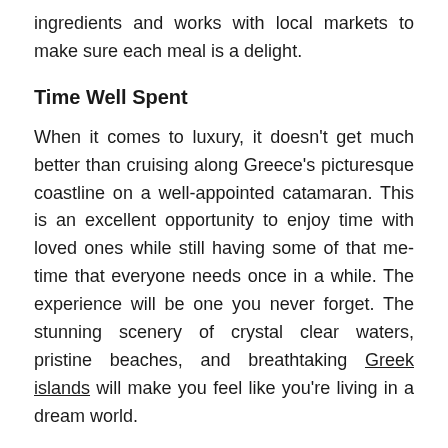ingredients and works with local markets to make sure each meal is a delight.
Time Well Spent
When it comes to luxury, it doesn't get much better than cruising along Greece's picturesque coastline on a well-appointed catamaran. This is an excellent opportunity to enjoy time with loved ones while still having some of that me-time that everyone needs once in a while. The experience will be one you never forget. The stunning scenery of crystal clear waters, pristine beaches, and breathtaking Greek islands will make you feel like you're living in a dream world.
Greece's location at the heart of the Mediterranean